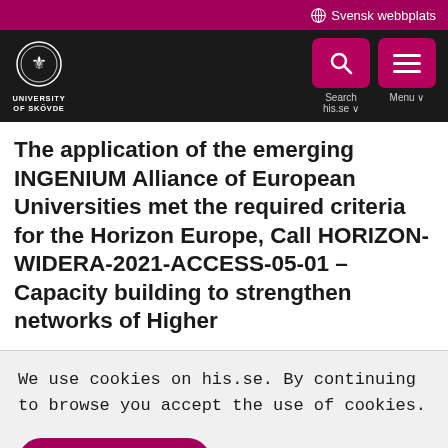🌐 Svensk webbplats
[Figure (logo): University of Skövde logo with crest and text on dark navigation bar. Search his.se and Menu buttons.]
The application of the emerging INGENIUM Alliance of European Universities met the required criteria for the Horizon Europe, Call HORIZON-WIDERA-2021-ACCESS-05-01 – Capacity building to strengthen networks of Higher
We use cookies on his.se. By continuing to browse you accept the use of cookies.
Ok, I understand
Read more about cookies